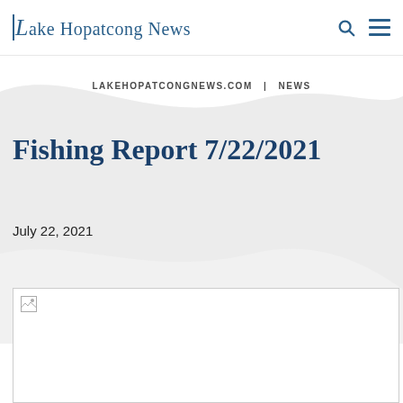Lake Hopatcong News
LAKEHOPATCONGNEWS.COM  |  NEWS
Fishing Report 7/22/2021
July 22, 2021
[Figure (photo): Broken/unavailable image placeholder for an article photo]